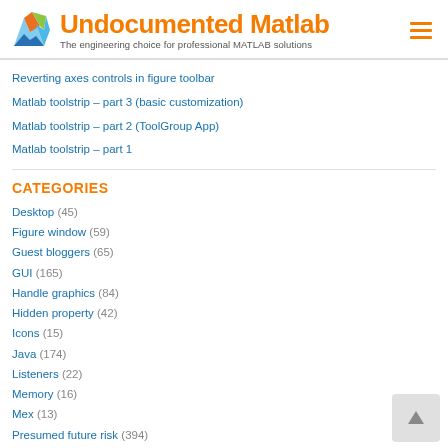Undocumented Matlab — The engineering choice for professional MATLAB solutions
Reverting axes controls in figure toolbar
Matlab toolstrip – part 3 (basic customization)
Matlab toolstrip – part 2 (ToolGroup App)
Matlab toolstrip – part 1
CATEGORIES
Desktop (45)
Figure window (59)
Guest bloggers (65)
GUI (165)
Handle graphics (84)
Hidden property (42)
Icons (15)
Java (174)
Listeners (22)
Memory (16)
Mex (13)
Presumed future risk (394)
High risk of breaking in future versions (100)
Low risk of breaking in future versions (169)